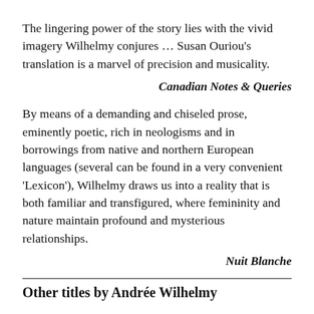The lingering power of the story lies with the vivid imagery Wilhelmy conjures … Susan Ouriou's translation is a marvel of precision and musicality.
Canadian Notes & Queries
By means of a demanding and chiseled prose, eminently poetic, rich in neologisms and in borrowings from native and northern European languages (several can be found in a very convenient 'Lexicon'), Wilhelmy draws us into a reality that is both familiar and transfigured, where femininity and nature maintain profound and mysterious relationships.
Nuit Blanche
Other titles by Andrée Wilhelmy